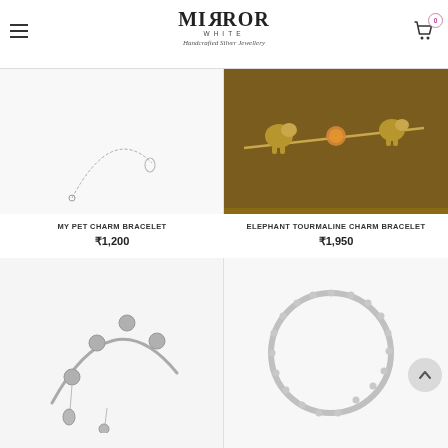MIRROR WHITE — Handcrafted Silver Jewellery
[Figure (photo): My Pet Charm Bracelet product photo showing a delicate silver charm bracelet on white background]
MY PET CHARM BRACELET
₹1,200
[Figure (photo): Elephant Tourmaline Charm Bracelet product photo showing silver bracelet with elephant charms and orange tourmaline stone on brown background]
ELEPHANT TOURMALINE CHARM BRACELET
₹1,950
[Figure (photo): Silver charm bracelet with decorative beads and pendant charms, shown on white background]
[Figure (photo): Silver beaded bangle bracelet shown on white background]